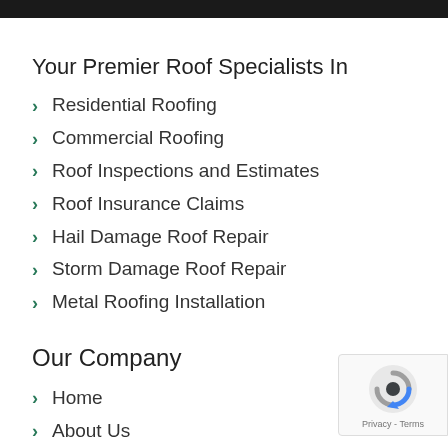Your Premier Roof Specialists In
Residential Roofing
Commercial Roofing
Roof Inspections and Estimates
Roof Insurance Claims
Hail Damage Roof Repair
Storm Damage Roof Repair
Metal Roofing Installation
Our Company
Home
About Us
Customer Reviews
[Figure (logo): Google reCAPTCHA badge with logo and Privacy - Terms text]